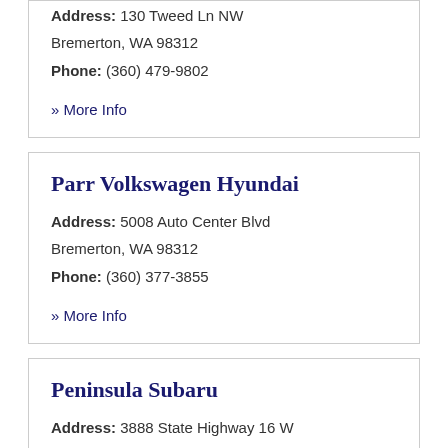Address: 130 Tweed Ln NW
Bremerton, WA 98312
Phone: (360) 479-9802
» More Info
Parr Volkswagen Hyundai
Address: 5008 Auto Center Blvd
Bremerton, WA 98312
Phone: (360) 377-3855
» More Info
Peninsula Subaru
Address: 3888 State Highway 16 W
Bremerton, WA 98312